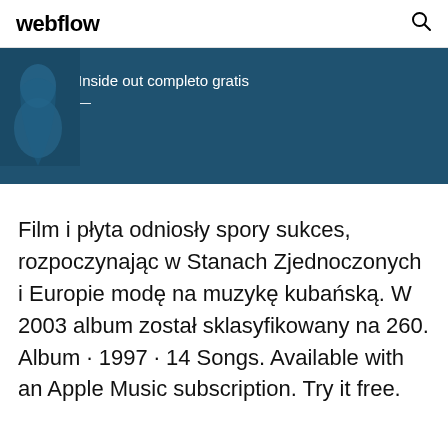webflow
[Figure (screenshot): Blue banner with partial silhouette image on the left and text 'Inside out completo gratis' on dark blue background]
Film i płyta odniosły spory sukces, rozpoczynając w Stanach Zjednoczonych i Europie modę na muzykę kubańską. W 2003 album został sklasyfikowany na 260. Album · 1997 · 14 Songs. Available with an Apple Music subscription. Try it free.